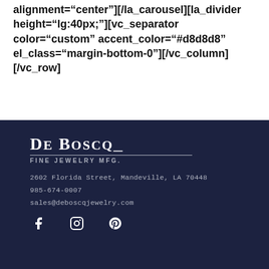alignment="center"][/la_carousel][la_divider height="lg:40px;"][vc_separator color="custom" accent_color="#d8d8d8" el_class="margin-bottom-0"][/vc_column][/vc_row]
[Figure (logo): De Boscq Fine Jewelry Mfg. logo in white on dark navy background]
2602 Florida Street, Mandeville, LA 70448
985-674-0007
sales@deboscqjewelry.com
[Figure (other): Social media icons: Facebook, Instagram, Pinterest]